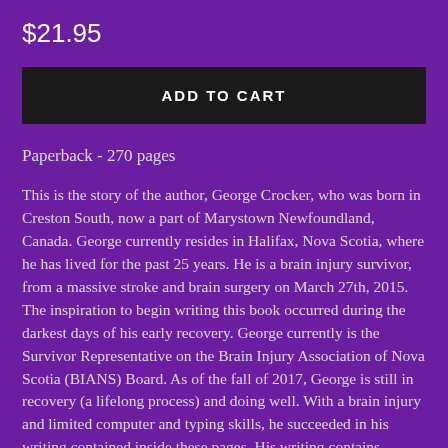$21.95
ADD TO CART
Paperback - 270 pages
This is the story of the author, George Crocker, who was born in Creston South, now a part of Marystown Newfoundland, Canada. George currently resides in Halifax, Nova Scotia, where he has lived for the past 25 years. He is a brain injury survivor, from a massive stroke and brain surgery on March 27th, 2015. The inspiration to begin writing this book occurred during the darkest days of his early recovery. George currently is the Survivor Representative on the Brain Injury Association of Nova Scotia (BIANS) Board. As of the fall of 2017, George is still in recovery (a lifelong process) and doing well. With a brain injury and limited computer and typing skills, he succeeded in his writing contained inside these pages. His writing contains insights into the human